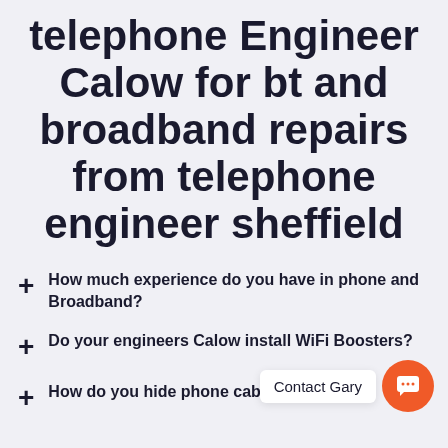telephone Engineer Calow for bt and broadband repairs from telephone engineer sheffield
+ How much experience do you have in phone and Broadband?
+ Do your engineers Calow install WiFi Boosters?
+ How do you hide phone cables?
Contact Gary